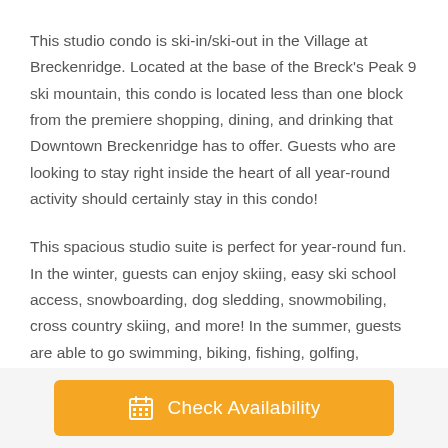This studio condo is ski-in/ski-out in the Village at Breckenridge. Located at the base of the Breck's Peak 9 ski mountain, this condo is located less than one block from the premiere shopping, dining, and drinking that Downtown Breckenridge has to offer. Guests who are looking to stay right inside the heart of all year-round activity should certainly stay in this condo!
This spacious studio suite is perfect for year-round fun. In the winter, guests can enjoy skiing, easy ski school access, snowboarding, dog sledding, snowmobiling, cross country skiing, and more! In the summer, guests are able to go swimming, biking, fishing, golfing, horseback riding, white water rafting, and much more!
Check Availability